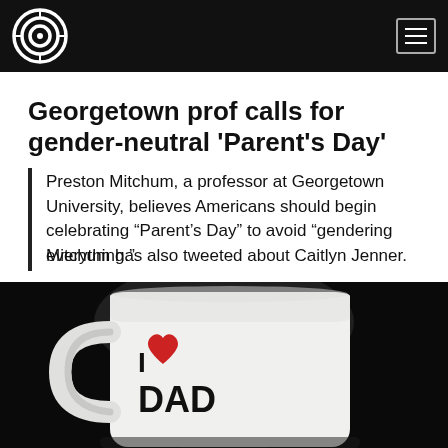Georgetown prof calls for gender-neutral 'Parent's Day'
Preston Mitchum, a professor at Georgetown University, believes Americans should begin celebrating “Parent’s Day” to avoid “gendering everything.”
Mitchum has also tweeted about Caitlyn Jenner.
[Figure (photo): A white coffee mug on a dark/black background with text 'I ♥ DAD' printed on it, where the heart is red and the text is black.]